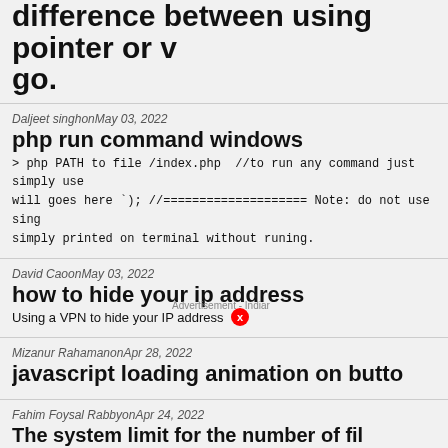difference between using pointer or value in go.
Daljeet singhon May 03, 2022
php run command windows
> php PATH to file /index.php  //to run any command just simply use will goes here `); //==================== Note: do not use sing simply printed on terminal without runing.
David CaoonMay 03, 2022
how to hide your ip address
Using a VPN to hide your IP address
Mizanur RahamanonApr 28, 2022
javascript loading animation on butto
Fahim Foysal RabbyonApr 24, 2022
The system limit for the number of fil
You can set a new limit temporary with:
Puzzled PuffinonApr 23, 2022
create super user